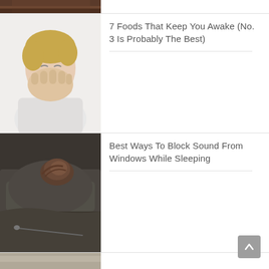[Figure (photo): Partial top image, appears to be a wooden surface or shelf, cropped]
7 Foods That Keep You Awake (No. 3 Is Probably The Best)
[Figure (photo): Young blonde man in white t-shirt covering his mouth/yawning, looking tired, against light background]
Best Ways To Block Sound From Windows While Sleeping
[Figure (photo): Close-up of dark grey pillow or blanket with a bun of hair visible on top, a cozy sleeping scene]
[Figure (photo): Partial bottom image, cut off at bottom of page]